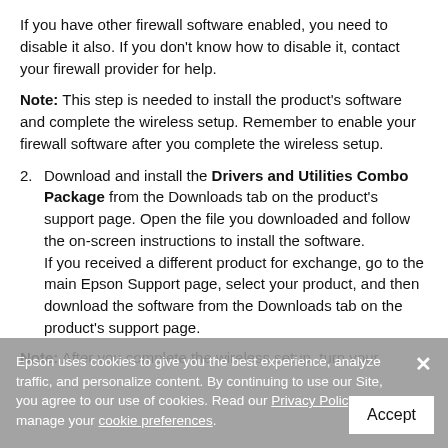If you have other firewall software enabled, you need to disable it also. If you don't know how to disable it, contact your firewall provider for help.
Note: This step is needed to install the product's software and complete the wireless setup. Remember to enable your firewall software after you complete the wireless setup.
2. Download and install the Drivers and Utilities Combo Package from the Downloads tab on the product's support page. Open the file you downloaded and follow the on-screen instructions to install the software. If you received a different product for exchange, go to the main Epson Support page, select your product, and then download the software from the Downloads tab on the product's support page.
Note: After you complete the wireless setup, turn your
Epson uses cookies to give you the best experience, analyze traffic, and personalize content. By continuing to use our Site, you agree to our use of cookies. Read our Privacy Policy or manage your cookie preferences.